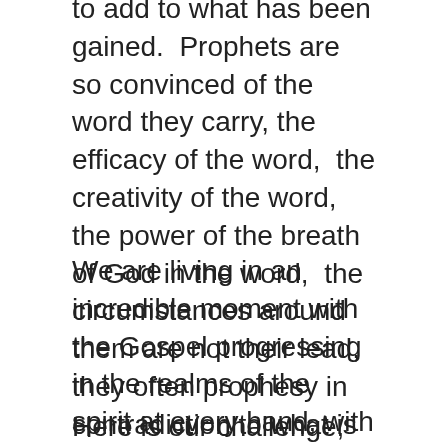to add to what has been gained.  Prophets are so convinced of the word they carry, the efficacy of the word,  the creativity of the word, the power of the breath of God in the word,  the circumstances around them are not their lead, they often prophesy in contradiction to what is  seen around.
We are living in an incredible moment with the Gospel progressing in the realms of the spirit at every hand, with demonstration and manifestation, you could say the wave of experiential Christianity has come alongside revealing truth, we have revivals reported from all around the world, great gatherings of people groups in China, South America, Africa, India its exciting.
Here is our challenge, with all that God is doing we can